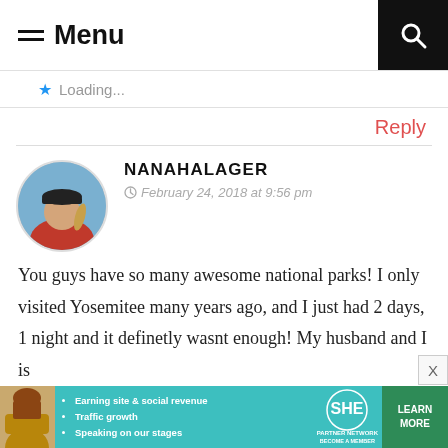≡ Menu
Loading...
Reply
NANAHALAGER
February 24, 2018 at 9:56 pm
You guys have so many awesome national parks! I only visited Yosemitee many years ago, and I just had 2 days, 1 night and it definetly wasnt enough! My husband and I is
[Figure (photo): Circular avatar photo of a person wearing a red jacket and dark cap, facing away from camera against a blue sky background]
[Figure (infographic): Advertisement banner for SHE Partner Network with teal background, showing bullet points: Earning site & social revenue, Traffic growth, Speaking on our stages, SHE logo, and LEARN MORE green button]